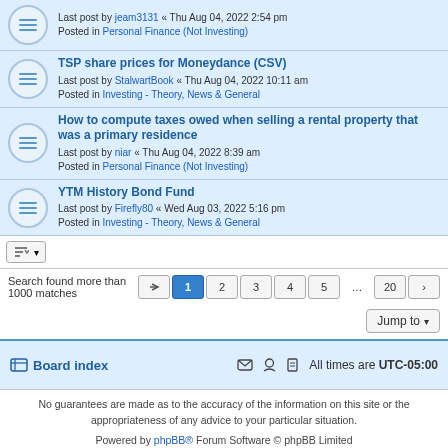Last post by jeam3131 « Thu Aug 04, 2022 2:54 pm
Posted in Personal Finance (Not Investing)
TSP share prices for Moneydance (CSV)
Last post by StalwartBook « Thu Aug 04, 2022 10:11 am
Posted in Investing - Theory, News & General
How to compute taxes owed when selling a rental property that was a primary residence
Last post by niar « Thu Aug 04, 2022 8:39 am
Posted in Personal Finance (Not Investing)
YTM History Bond Fund
Last post by Firefly80 « Wed Aug 03, 2022 5:16 pm
Posted in Investing - Theory, News & General
Search found more than 1000 matches
Board index   All times are UTC-05:00
No guarantees are made as to the accuracy of the information on this site or the appropriateness of any advice to your particular situation.
Powered by phpBB® Forum Software © phpBB Limited
Privacy | Terms
Time: 0.513s | Peak Memory Usage: 9.78 MiB | GZIP: Off